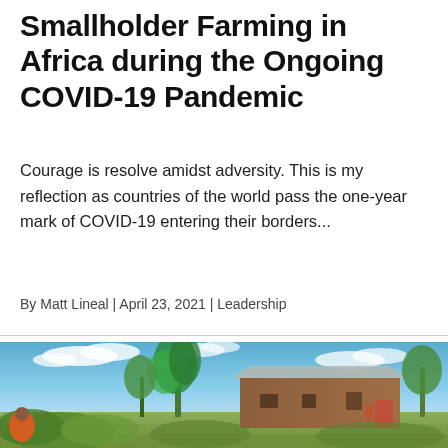Smallholder Farming in Africa during the Ongoing COVID-19 Pandemic
Courage is resolve amidst adversity. This is my reflection as countries of the world pass the one-year mark of COVID-19 entering their borders...
By Matt Lineal | April 23, 2021 | Leadership
[Figure (photo): Outdoor photo of an African smallholder farm showing a mud-brick house with a metal roof, surrounded by banana trees and lush green crops under a bright blue sky with clouds. A person in an orange garment is visible in the foreground.]